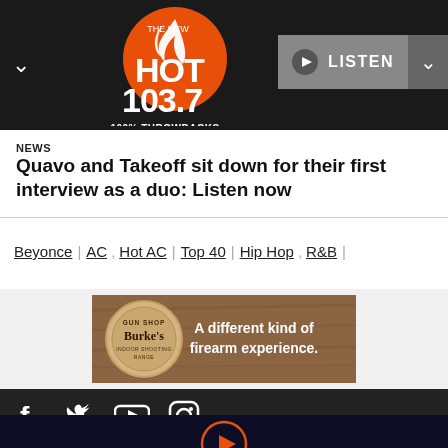THE NEW HOT 103.7 — 100% THROWBACKS | LISTEN
NEWS
Quavo and Takeoff sit down for their first interview as a duo: Listen now
Beyonce | AC , Hot AC | Top 40 | Hip Hop , R&B |
[Figure (other): Burke's Gun Shop advertisement banner: 'A different kind of firearm experience.']
[Figure (other): Social media icons: Facebook, Twitter, YouTube, Instagram]
[Figure (other): Audio player play button (orange circle with play triangle) on dark navy background]